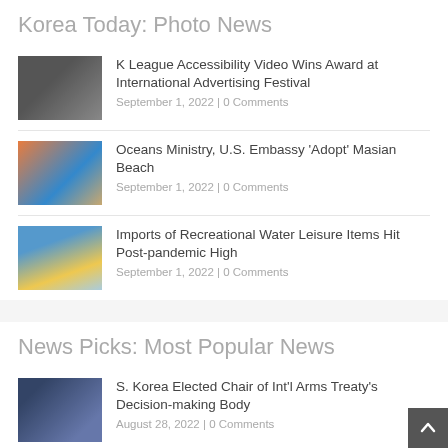Korea Today: Photo News
K League Accessibility Video Wins Award at International Advertising Festival
September 1, 2022 | 0 Comments
Oceans Ministry, U.S. Embassy 'Adopt' Masian Beach
September 1, 2022 | 0 Comments
Imports of Recreational Water Leisure Items Hit Post-pandemic High
September 1, 2022 | 0 Comments
News Picks: Most Popular News
S. Korea Elected Chair of Int'l Arms Treaty's Decision-making Body
August 28, 2022 | 0 Comments
Gov't to Introduce Stronger Health Warnings on Cigarette Packaging